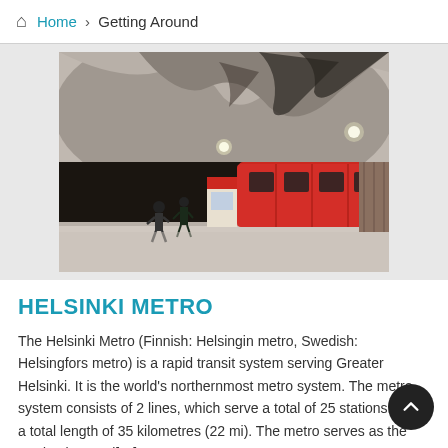Home > Getting Around
[Figure (photo): Interior of Helsinki Metro station showing a red metro train on the platform with passengers walking, and a distinctive rough rock ceiling carved into natural stone shape.]
HELSINKI METRO
The Helsinki Metro (Finnish: Helsingin metro, Swedish: Helsingfors metro) is a rapid transit system serving Greater Helsinki. It is the world's northernmost metro system. The metro system consists of 2 lines, which serve a total of 25 stations. It has a total length of 35 kilometres (22 mi). The metro serves as the predominant rai[...]